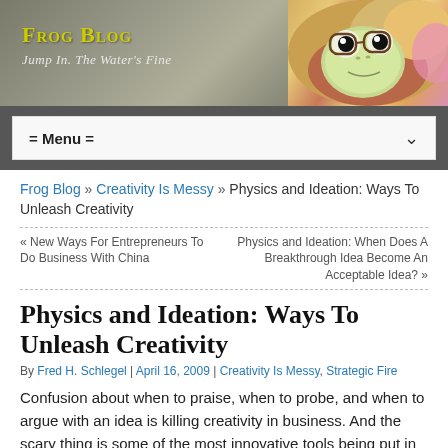[Figure (illustration): Frog Blog website header banner with textured grey/green background, yellow 'Frog Blog' title text, italic subtitle 'Jump In. The Water's Fine', and a cartoon frog with glasses on the right side.]
= Menu =
Frog Blog » Creativity Is Messy » Physics and Ideation: Ways To Unleash Creativity
« New Ways For Entrepreneurs To Do Business With China
Physics and Ideation: When Does A Breakthrough Idea Become An Acceptable Idea? »
Physics and Ideation: Ways To Unleash Creativity
By Fred H. Schlegel | April 16, 2009 | Creativity Is Messy, Strategic Fire
Confusion about when to praise, when to probe, and when to argue with an idea is killing creativity in business. And the scary thing is some of the most innovative tools being put in place to increase the flow of ideas are just as effective at killing the spirit as in the old days of rapid confrontation.